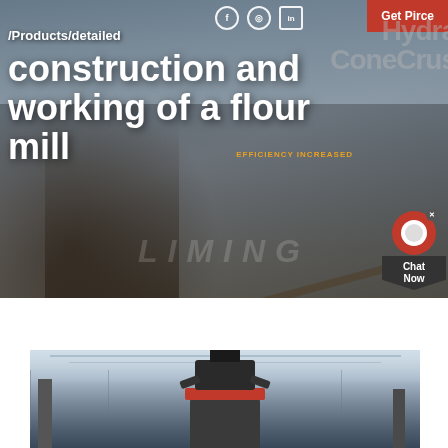[Figure (photo): Hero banner showing industrial mining/construction site with heavy machinery, conveyor belts, and crusher equipment. Background shows outdoor industrial yard.]
/Products/detailed
construction and working of a flour mill
[Figure (photo): Close-up photograph of a cone crusher machine inside an industrial facility with metal framework visible in the background.]